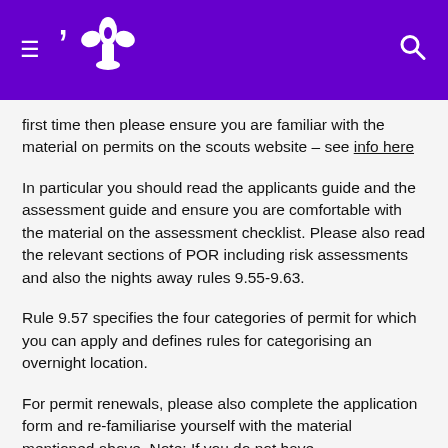[Scouts website header with hamburger menu, fleur-de-lis logo, and search icon]
first time then please ensure you are familiar with the material on permits on the scouts website – see info here
In particular you should read the applicants guide and the assessment guide and ensure you are comfortable with the material on the assessment checklist. Please also read the relevant sections of POR including risk assessments and also the nights away rules 9.55-9.63.
Rule 9.57 specifies the four categories of permit for which you can apply and defines rules for categorising an overnight location.
For permit renewals, please also complete the application form and re-familiarise yourself with the material mentioned above. Note: If you do not have